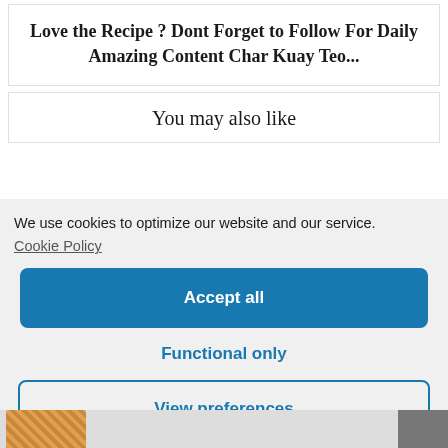Love the Recipe ? Dont Forget to Follow For Daily Amazing Content Char Kuay Teo...
You may also like
We use cookies to optimize our website and our service.
Cookie Policy
Accept all
Functional only
View preferences